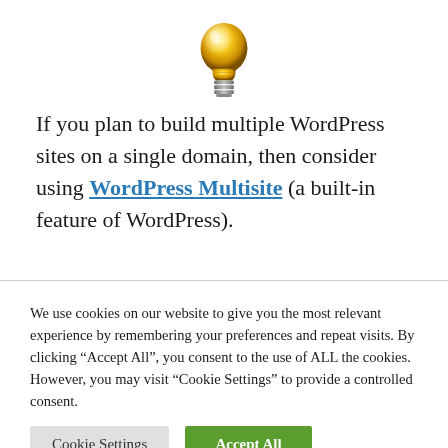[Figure (illustration): A golden lightbulb icon with metallic base, centered at top of page]
If you plan to build multiple WordPress sites on a single domain, then consider using WordPress Multisite (a built-in feature of WordPress).
We use cookies on our website to give you the most relevant experience by remembering your preferences and repeat visits. By clicking "Accept All", you consent to the use of ALL the cookies. However, you may visit "Cookie Settings" to provide a controlled consent.
Cookie Settings | Accept All